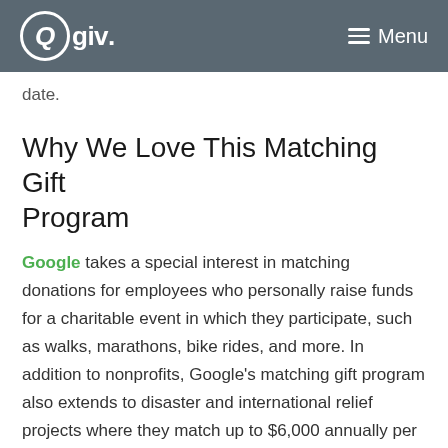Qgiv. Menu
date.
Why We Love This Matching Gift Program
Google takes a special interest in matching donations for employees who personally raise funds for a charitable event in which they participate, such as walks, marathons, bike rides, and more. In addition to nonprofits, Google's matching gift program also extends to disaster and international relief projects where they match up to $6,000 annually per employee.